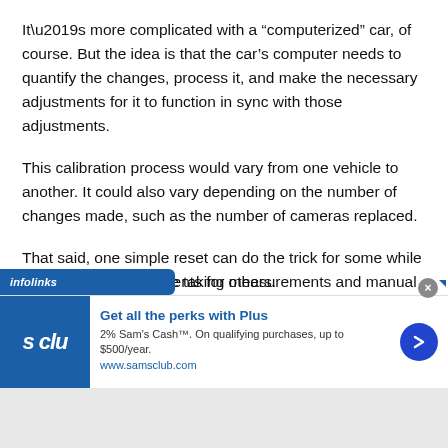It’s more complicated with a “computerized” car, of course. But the idea is that the car’s computer needs to quantify the changes, process it, and make the necessary adjustments for it to function in sync with those adjustments.
This calibration process would vary from one vehicle to another. It could also vary depending on the number of changes made, such as the number of cameras replaced.
That said, one simple reset can do the trick for some while calibration may involve taking measurements and manual [adjustme]nts for others.
[Figure (screenshot): Infolinks ad banner for Sam's Club showing 's clu' logo, headline 'Get all the perks with Plus', description '2% Sam’s Cash™. On qualifying purchases, up to $500/year. www.samsclub.com', with a blue arrow button and close X button.]